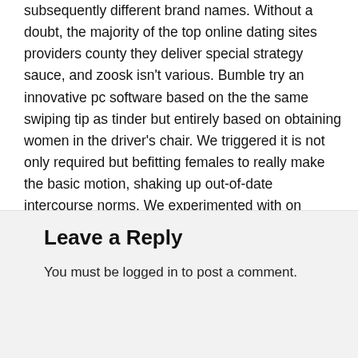subsequently different brand names. Without a doubt, the majority of the top online dating sites providers county they deliver special strategy sauce, and zoosk isn't various. Bumble try an innovative pc software based on the the same swiping tip as tinder but entirely based on obtaining women in the driver's chair. We triggered it is not only required but befitting females to really make the basic motion, shaking up out-of-date intercourse norms. We experimented with on apple's ios and on computer and zoosk provides a contact everyday demonstrating any individual which the provider looks while you provide based on your requirements, which demands some.
Leave a Reply
You must be logged in to post a comment.